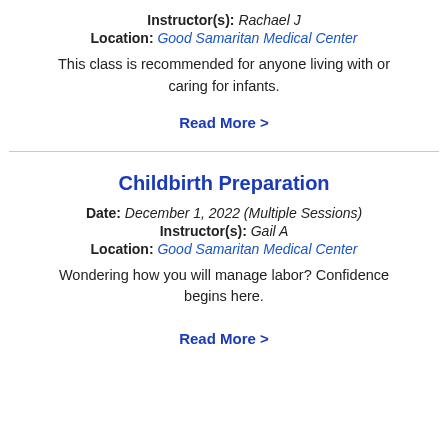Instructor(s): Rachael J
Location: Good Samaritan Medical Center
This class is recommended for anyone living with or caring for infants.
Read More >
Childbirth Preparation
Date: December 1, 2022 (Multiple Sessions)
Instructor(s): Gail A
Location: Good Samaritan Medical Center
Wondering how you will manage labor? Confidence begins here.
Read More >